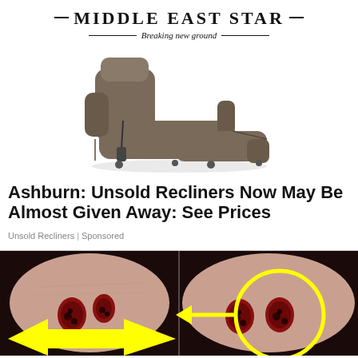—MIDDLE EAST STAR— Breaking new ground
[Figure (photo): Brown leather power recliner chair photographed on white background, shown in reclined position from a 3/4 angle]
Ashburn: Unsold Recliners Now May Be Almost Given Away: See Prices
Unsold Recliners | Sponsored
[Figure (photo): Two side-by-side close-up photos of a person's nostrils on a dark background with yellow arrow graphic overlays pointing to blackheads/pores inside the nostrils]